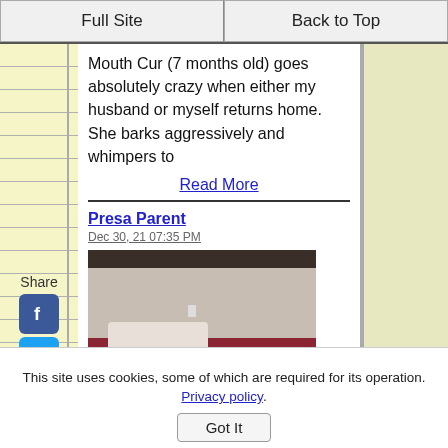Full Site | Back to Top
Mouth Cur (7 months old) goes absolutely crazy when either my husband or myself returns home. She barks aggressively and whimpers to
Read More
Presa Parent
Dec 30, 21 07:35 PM
[Figure (photo): Photo of a room/bedroom scene]
This site uses cookies, some of which are required for its operation. Privacy policy.
Got It